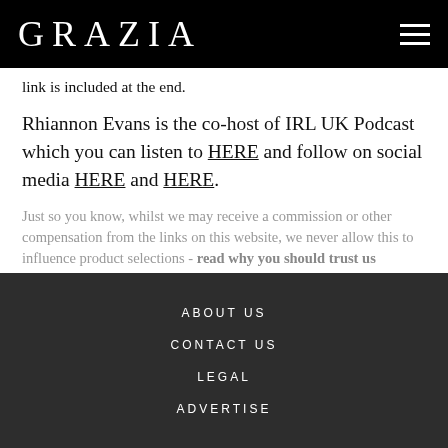GRAZIA
link is included at the end.
Rhiannon Evans is the co-host of IRL UK Podcast which you can listen to HERE and follow on social media HERE and HERE.
Just so you know, whilst we may receive a commission or other compensation from the links on this website, we never allow this to influence product selections - read why you should trust us
ABOUT US
CONTACT US
LEGAL
ADVERTISE